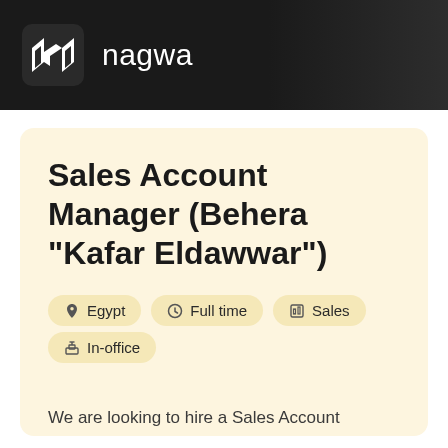nagwa
Sales Account Manager (Behera "Kafar Eldawwar")
Egypt
Full time
Sales
In-office
We are looking to hire a Sales Account